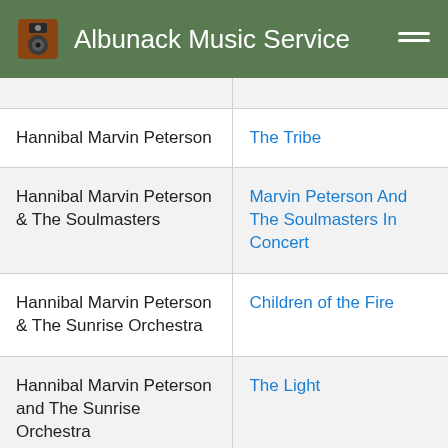Albunack Music Service
| Artist | Album |
| --- | --- |
|  |  |
| Hannibal Marvin Peterson | The Tribe |
| Hannibal Marvin Peterson & The Soulmasters | Marvin Peterson And The Soulmasters In Concert |
| Hannibal Marvin Peterson & The Sunrise Orchestra | Children of the Fire |
| Hannibal Marvin Peterson and The Sunrise Orchestra | The Light |
| Hannibal and The Sunrise Orchestra | Hannibal |
|  |  |